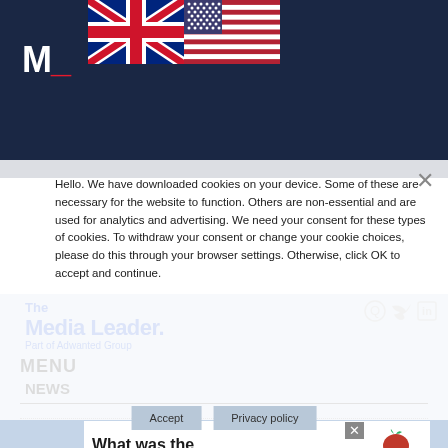[Figure (screenshot): Dark navy header area of The Media Leader website with M_ logo in white/red and two flags (UK and US flags) in the top center]
[Figure (logo): The Media Leader logo - blue bold text saying 'The Media Leader' with 'Part of Adwanted Group' subtitle]
MENU
NEWS
Hello. We have downloaded cookies on your device. Some of these are necessary for the website to function. Others are non-essential and are used for analytics and advertising. We need your consent for these types of cookies. To withdraw your consent or change your cookie choices, please do this through your browser settings. Otherwise, click OK to accept and continue.
Accept
Privacy policy
What was the